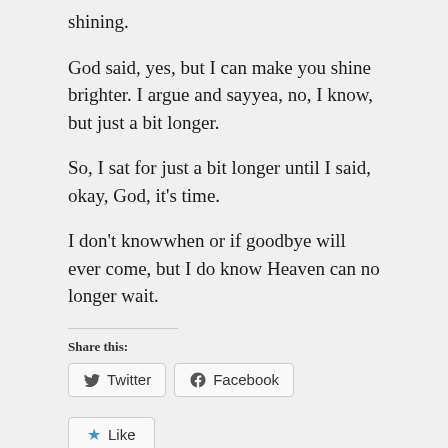shining.
God said, yes, but I can make you shine brighter. I argue and sayyea, no, I know, but just a bit longer.
So, I sat for just a bit longer until I said, okay, God, it’s time.
I don’t knowwhen or if goodbye will ever come, but I do know Heaven can no longer wait.
Share this:
[Figure (other): Twitter and Facebook share buttons]
[Figure (other): Like button with star icon]
Be the first to like this.